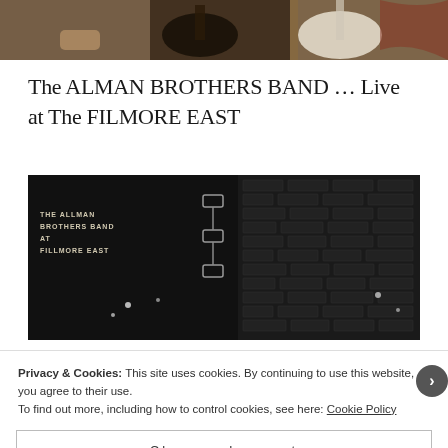[Figure (photo): Top portion of a photo showing musicians with guitars in a band setting]
The ALMAN BROTHERS BAND ... Live at The FILMORE EAST
[Figure (photo): Black and white album cover or promotional image for The Allman Brothers Band at Fillmore East, showing text overlay on left side with brick wall on right]
Privacy & Cookies: This site uses cookies. By continuing to use this website, you agree to their use.
To find out more, including how to control cookies, see here: Cookie Policy
Close and accept